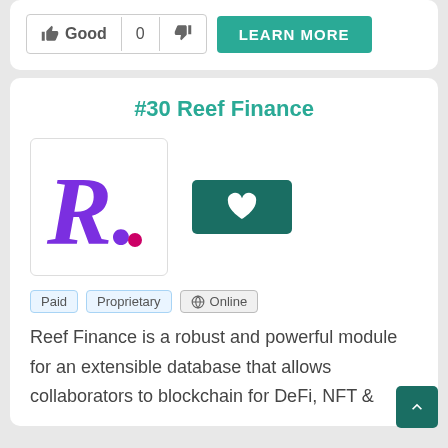[Figure (screenshot): Vote buttons showing thumbs up Good, count 0, thumbs down, and a teal LEARN MORE button]
#30 Reef Finance
[Figure (logo): Reef Finance logo: stylized purple cursive R with a magenta dot, inside a bordered box. Next to it a dark teal heart/favorite button.]
Paid
Proprietary
Online
Reef Finance is a robust and powerful module for an extensible database that allows collaborators to blockchain for DeFi, NFT &